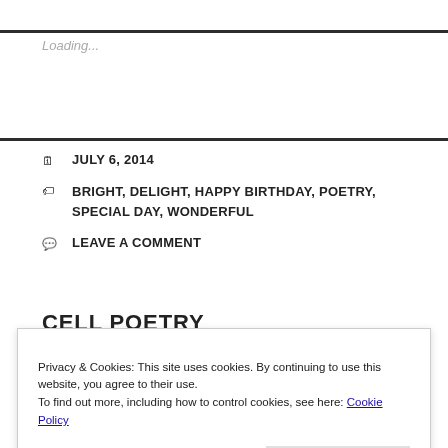Loading...
JULY 6, 2014
BRIGHT, DELIGHT, HAPPY BIRTHDAY, POETRY, SPECIAL DAY, WONDERFUL
LEAVE A COMMENT
CELL POETRY
Privacy & Cookies: This site uses cookies. By continuing to use this website, you agree to their use.
To find out more, including how to control cookies, see here: Cookie Policy